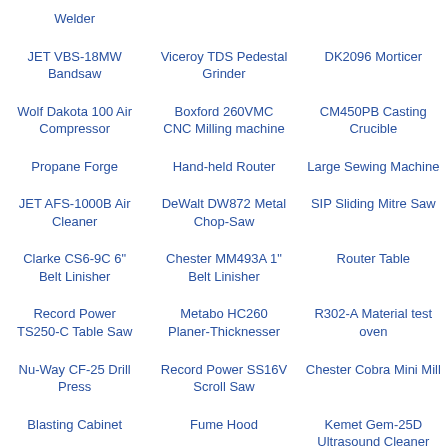Welder
JET VBS-18MW Bandsaw
Viceroy TDS Pedestal Grinder
DK2096 Morticer
Wolf Dakota 100 Air Compressor
Boxford 260VMC CNC Milling machine
CM450PB Casting Crucible
Propane Forge
Hand-held Router
Large Sewing Machine
JET AFS-1000B Air Cleaner
DeWalt DW872 Metal Chop-Saw
SIP Sliding Mitre Saw
Clarke CS6-9C 6" Belt Linisher
Chester MM493A 1" Belt Linisher
Router Table
Record Power TS250-C Table Saw
Metabo HC260 Planer-Thicknesser
R302-A Material test oven
Nu-Way CF-25 Drill Press
Record Power SS16V Scroll Saw
Chester Cobra Mini Mill
Blasting Cabinet
Fume Hood
Kemet Gem-25D Ultrasound Cleaner
HV-128 Horizontal Bandsaw
Record WG-250 Water stone
8" Polishing/Buffing Wheel